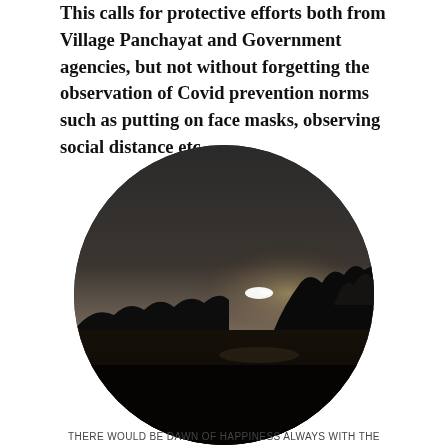This calls for protective efforts both from Village Panchayat and Government agencies, but not without forgetting the observation of Covid prevention norms such as putting on face masks, observing social distance etc.
[Figure (photo): Oval/circle-cropped photograph of a dawn or dusk landscape scene. A bright sun or moon glows low on the horizon through haze, with silhouettes of trees on the right and a dark foreground. The sky fades from dark at the top to lighter near the horizon.]
THERE WOULD BE DAWN OF HAPPINESS ALWAYS WITH THE